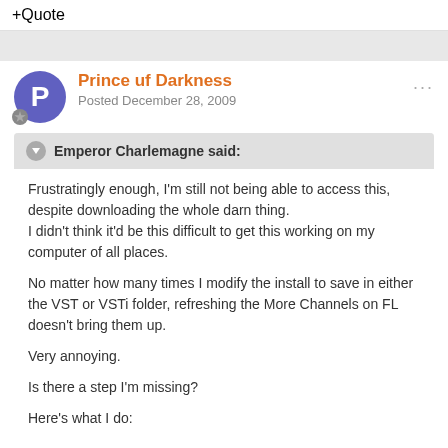+ Quote
Prince uf Darkness
Posted December 28, 2009
Emperor Charlemagne said:
Frustratingly enough, I'm still not being able to access this, despite downloading the whole darn thing.
I didn't think it'd be this difficult to get this working on my computer of all places.

No matter how many times I modify the install to save in either the VST or VSTi folder, refreshing the More Channels on FL doesn't bring them up.

Very annoying.

Is there a step I'm missing?

Here's what I do: